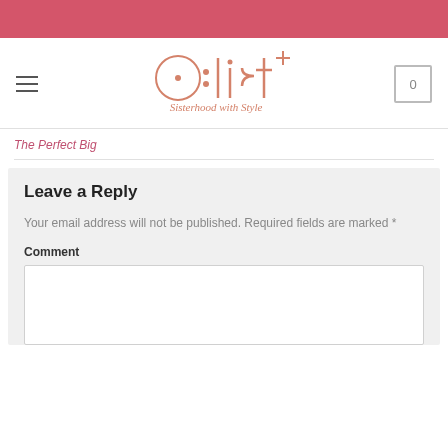[Figure (logo): Pink horizontal banner at top of webpage]
[Figure (logo): A·list Sisterhood with Style logo in salmon/pink color with hamburger menu and cart icon 0]
The Perfect Big
Leave a Reply
Your email address will not be published. Required fields are marked *
Comment